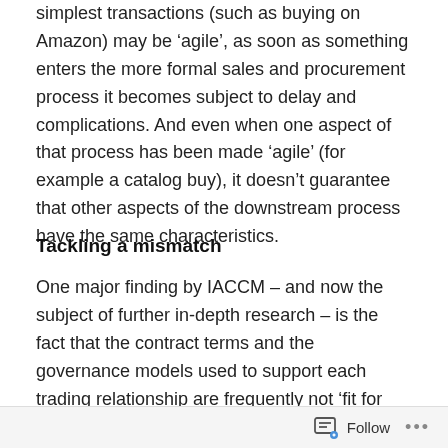simplest transactions (such as buying on Amazon) may be 'agile', as soon as something enters the more formal sales and procurement process it becomes subject to delay and complications. And even when one aspect of that process has been made 'agile' (for example a catalog buy), it doesn't guarantee that other aspects of the downstream process have the same characteristics.
Tackling a mismatch
One major finding by IACCM – and now the subject of further in-depth research – is the fact that the contract terms and the governance models used to support each trading relationship are frequently not 'fit for purpose'. There is, quite simply, a mismatch between what the parties want to achieve and the contract and contract
Follow ···